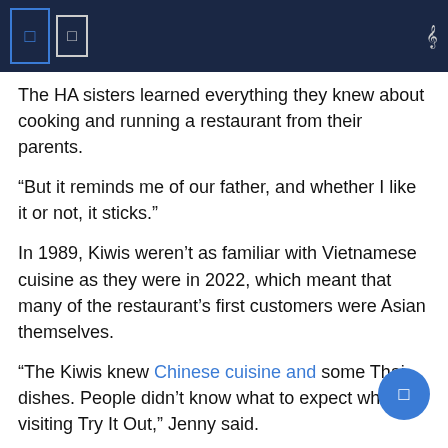The HA sisters learned everything they knew about cooking and running a restaurant from their parents.
“But it reminds me of our father, and whether I like it or not, it sticks.”
In 1989, Kiwis weren’t as familiar with Vietnamese cuisine as they were in 2022, which meant that many of the restaurant’s first customers were Asian themselves.
“The Kiwis knew Chinese cuisine and some Thai dishes. People didn’t know what to expect when visiting Try It Out,” Jenny said.
Try It Out is known for its fresh and authentic cuisine, including one of its specialties – banh mi.
Emma Clark-Dow / Stuff